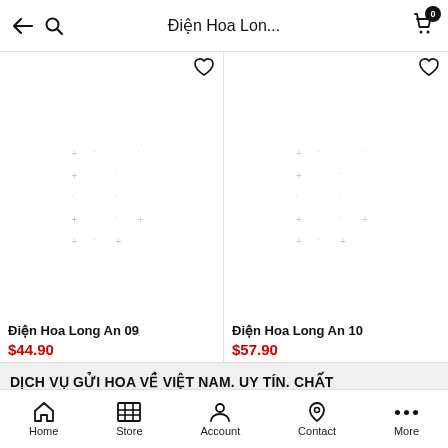Điện Hoa Lon...
[Figure (other): Product image placeholder with dot pattern for Điện Hoa Long An 09]
Điện Hoa Long An 09
$44.90
[Figure (other): Product image placeholder with dot pattern for Điện Hoa Long An 10]
Điện Hoa Long An 10
$57.90
DỊCH VỤ GỬI HOA VỀ VIỆT NAM. UY TÍN. CHẤT
Home  Store  Account  Contact  More